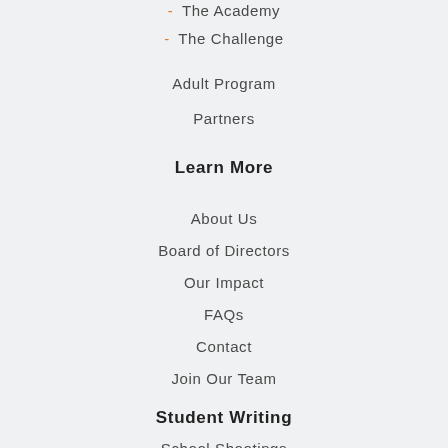- The Academy
- The Challenge
Adult Program
Partners
Learn More
About Us
Board of Directors
Our Impact
FAQs
Contact
Join Our Team
Student Writing
School Shootings